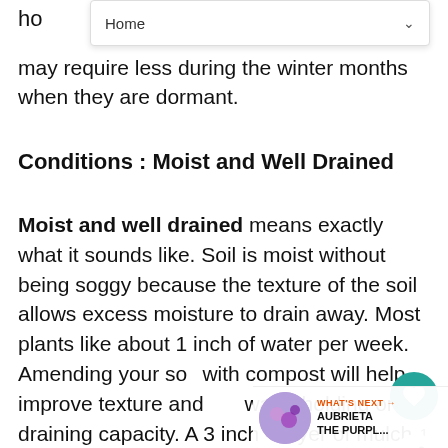ho
[Figure (screenshot): Navigation dropdown bar showing 'Home' with a chevron/arrow on the right]
may require less during the winter months when they are dormant.
Conditions : Moist and Well Drained
Moist and well drained means exactly what it sounds like. Soil is moist without being soggy because the texture of the soil allows excess moisture to drain away. Most plants like about 1 inch of water per week. Amending your soil with compost will help improve texture and water holding or draining capacity. A 3 inch layer of mulch will help to maintain soil moisture and studies have shown that mulched plants grow faster than non-mulched plants.